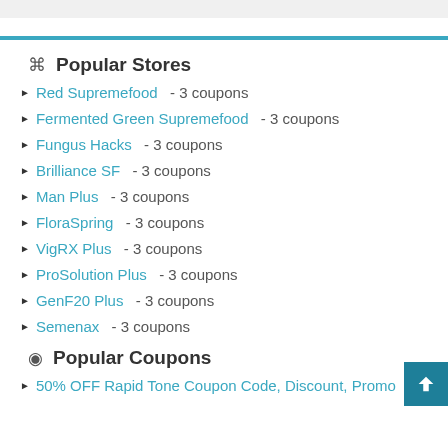Popular Stores
Red Supremefood  - 3 coupons
Fermented Green Supremefood  - 3 coupons
Fungus Hacks  - 3 coupons
Brilliance SF  - 3 coupons
Man Plus  - 3 coupons
FloraSpring  - 3 coupons
VigRX Plus  - 3 coupons
ProSolution Plus  - 3 coupons
GenF20 Plus  - 3 coupons
Semenax  - 3 coupons
Popular Coupons
50% OFF Rapid Tone Coupon Code, Discount, Promo